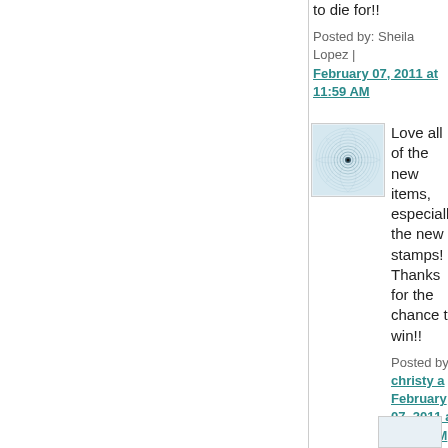to die for!!
Posted by: Sheila Lopez | February 07, 2011 at 11:59 AM
[Figure (illustration): Circular spirograph avatar image with concentric ring patterns]
Love all of the new items, especially the new stamps! Thanks for the chance to win!!
Posted by: christy a | February 07, 2011 at 12:27 PM